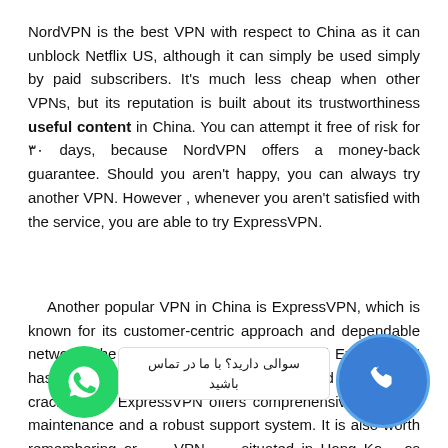NordVPN is the best VPN with respect to China as it can unblock Netflix US, although it can simply be used simply by paid subscribers. It's much less cheap when other VPNs, but its reputation is built about its trustworthiness useful content in China. You can attempt it free of risk for ۳۰ days, because NordVPN offers a money-back guarantee. Should you aren't happy, you can always try another VPN. However , whenever you aren't satisfied with the service, you are able to try ExpressVPN.
Another popular VPN in China is ExpressVPN, which is known for its customer-centric approach and dependable network. The VPN works well in China, and ExpressVPN has become successfully circumvented numerous crackdowns. ExpressVPN offers comprehensive technical maintenance and a robust support system. It is also worth remembering or VPN situated in Hong Kong os An perfect for users China
[Figure (other): WhatsApp green circular button icon at bottom left]
[Figure (other): Blue phone circular button icon at bottom right]
سوالی دارید؟ با ما در تماس باشید